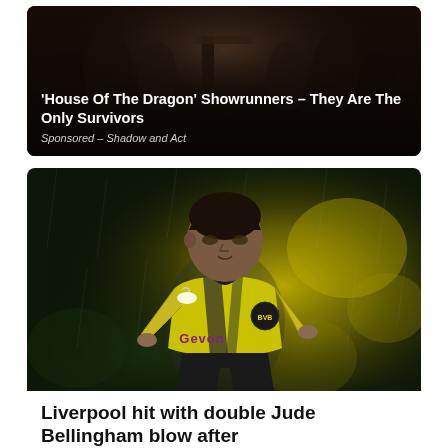[Figure (photo): Dark atmospheric promotional image for House of the Dragon showing robed fantasy figures, with overlaid white text headline and sponsorship label]
'House Of The Dragon' Showrunners - They Are The Only Survivors
Sponsored - Shadow and Act
[Figure (photo): Football player Jude Bellingham in yellow Borussia Dortmund kit with Evonik sponsor, running on pitch with blurred yellow/green background]
Liverpool hit with double Jude Bellingham blow after